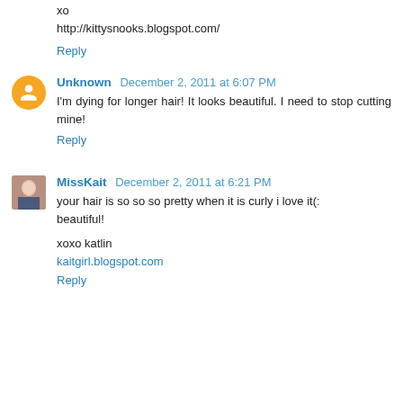Such a sweet outfit. Loving the dress :)
xo
http://kittysnooks.blogspot.com/
Reply
Unknown  December 2, 2011 at 6:07 PM
I'm dying for longer hair! It looks beautiful. I need to stop cutting mine!
Reply
MissKait  December 2, 2011 at 6:21 PM
your hair is so so so pretty when it is curly i love it(:
beautiful!
xoxo katlin
kaitgirl.blogspot.com
Reply